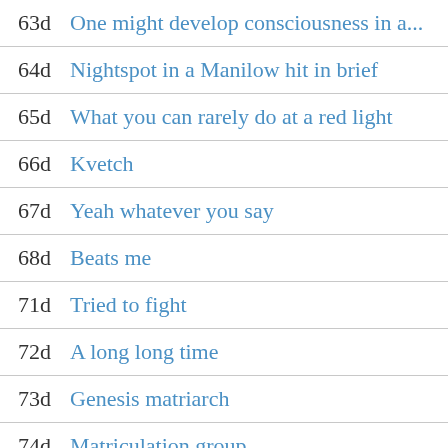63d One might develop consciousness in a...
64d Nightspot in a Manilow hit in brief
65d What you can rarely do at a red light
66d Kvetch
67d Yeah whatever you say
68d Beats me
71d Tried to fight
72d A long long time
73d Genesis matriarch
74d Matriculation group